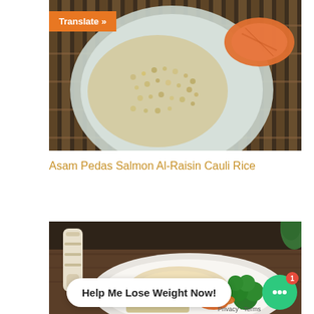[Figure (photo): Top-down view of a plate with salmon and cauliflower rice on a bamboo mat background, with an orange 'Translate »' button overlaid in the top-left corner of the image]
Asam Pedas Salmon Al-Raisin Cauli Rice
[Figure (photo): Top-down view of a plate with baked fish, broccoli, carrots and rice on a dark wooden background, with a pepper grinder and green herbs, overlaid with a chat bubble saying 'Help Me Lose Weight Now!' and a green chat icon with a red notification badge showing 1]
Help Me Lose Weight Now!
Privacy · Terms